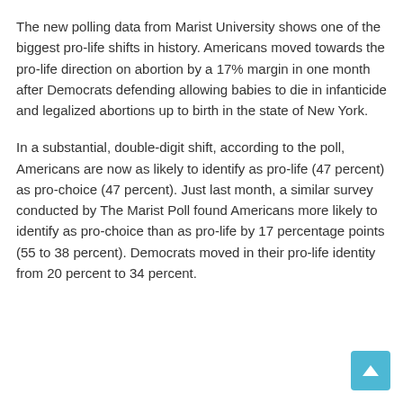The new polling data from Marist University shows one of the biggest pro-life shifts in history. Americans moved towards the pro-life direction on abortion by a 17% margin in one month after Democrats defending allowing babies to die in infanticide and legalized abortions up to birth in the state of New York.
In a substantial, double-digit shift, according to the poll, Americans are now as likely to identify as pro-life (47 percent) as pro-choice (47 percent). Just last month, a similar survey conducted by The Marist Poll found Americans more likely to identify as pro-choice than as pro-life by 17 percentage points (55 to 38 percent). Democrats moved in their pro-life identity from 20 percent to 34 percent.